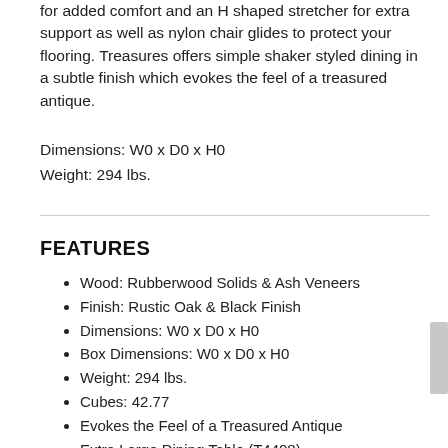for added comfort and an H shaped stretcher for extra support as well as nylon chair glides to protect your flooring. Treasures offers simple shaker styled dining in a subtle finish which evokes the feel of a treasured antique.
Dimensions: W0 x D0 x H0
Weight: 294 lbs.
FEATURES
Wood: Rubberwood Solids & Ash Veneers
Finish: Rustic Oak & Black Finish
Dimensions: W0 x D0 x H0
Box Dimensions: W0 x D0 x H0
Weight: 294 lbs.
Cubes: 42.77
Evokes the Feel of a Treasured Antique
Extra Large Dining Table (T4408)
Nylon Chair Glides